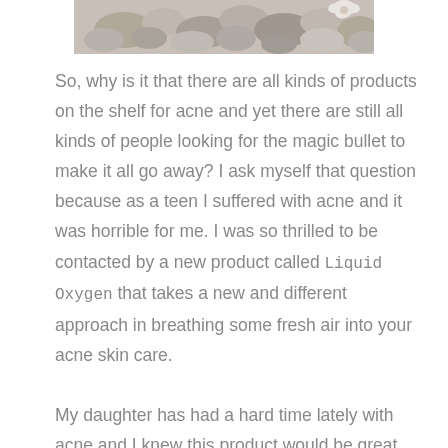[Figure (photo): Decorative photo of smooth stones and a flower, cropped at the top of the page]
So, why is it that there are all kinds of products on the shelf for acne and yet there are still all kinds of people looking for the magic bullet to make it all go away? I ask myself that question because as a teen I suffered with acne and it was horrible for me. I was so thrilled to be contacted by a new product called Liquid Oxygen that takes a new and different approach in breathing some fresh air into your acne skin care.

My daughter has had a hard time lately with acne and I knew this product would be great for her to